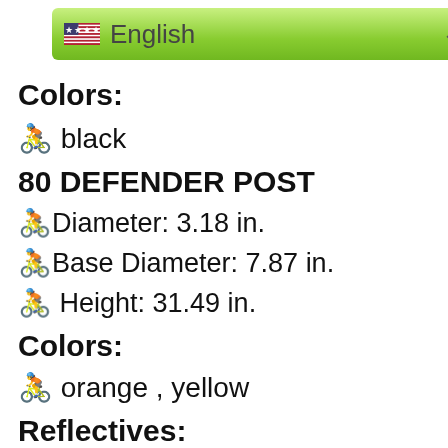[Figure (screenshot): Green dropdown button with US flag and 'English' text with dropdown arrow, and a bicycle emoji in the top-left corner]
Colors:
🚴 black
80 DEFENDER POST
🚴Diameter: 3.18 in.
🚴Base Diameter: 7.87 in.
🚴 Height: 31.49 in.
Colors:
🚴 orange , yellow
Reflectives:
🚴 ...